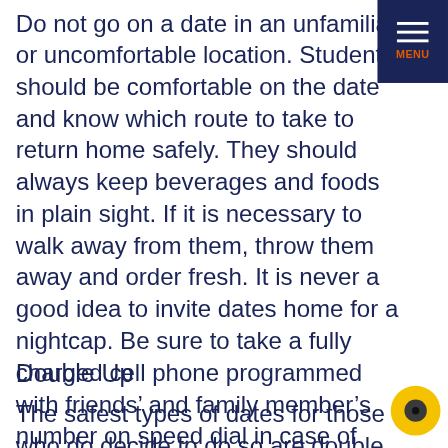Do not go on a date in an unfamiliar or uncomfortable location. Students should be comfortable on the date and know which route to take to return home safely. They should always keep beverages and foods in plain sight. If it is necessary to walk away from them, throw them away and order fresh. It is never a good idea to invite dates home for a nightcap. Be sure to take a fully charged cell phone programmed with friends’ and family member’s number on speed dial in case of emergency.
Double Up
The safest types of dates for those who do decide to do so are double and group dates.